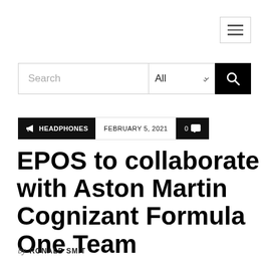[Figure (infographic): Hamburger menu button (three horizontal lines) in top right corner]
[Figure (screenshot): Search bar with text input field, All category dropdown, and black search button with magnifying glass icon]
HEADPHONES  FEBRUARY 5, 2021  0 comments
EPOS to collaborate with Aston Martin Cognizant Formula One Team
by RONALD SMIT